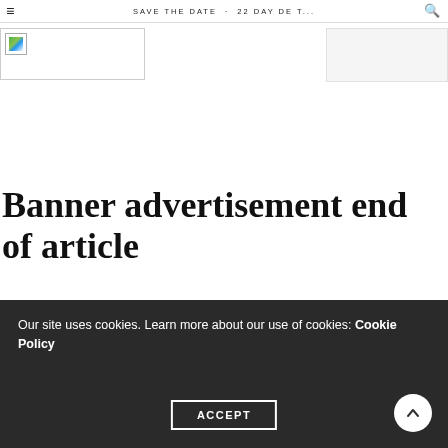SAVE THE DATE · 22 Day de t...
[Figure (logo): Small image/logo placeholder with green and blue icon in top-left area]
Banner advertisement end of article
Our site uses cookies. Learn more about our use of cookies: Cookie Policy  ACCEPT